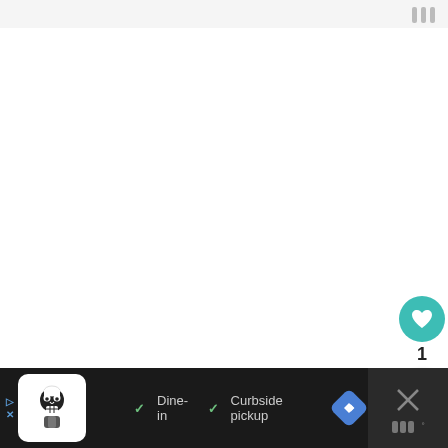[Figure (screenshot): Website screenshot showing a travel content page with a mostly white content area, side action buttons (heart/like button showing count of 1, share button), a 'What's Next' card preview with thumbnail and title 'A Fantastic 4 day Maui...', and a bottom advertisement bar showing a restaurant ad with 'Dine-in' and 'Curbside pickup' options.]
1
WHAT'S NEXT → A Fantastic 4 day Maui...
✓ Dine-in ✓ Curbside pickup